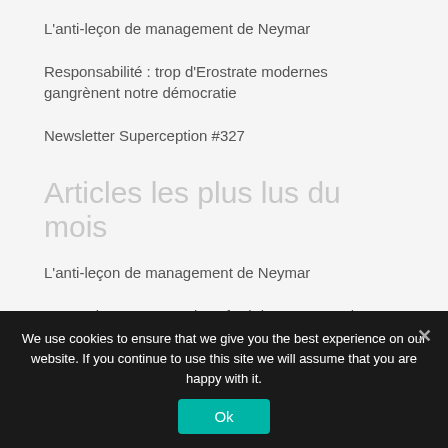L'anti-leçon de management de Neymar
Responsabilité : trop d'Erostrate modernes gangrènent notre démocratie
Newsletter Superception #327
Articles les plus lus du mois
L'anti-leçon de management de Neymar
Perception : comment le cafard des mers est devenu
We use cookies to ensure that we give you the best experience on our website. If you continue to use this site we will assume that you are happy with it.